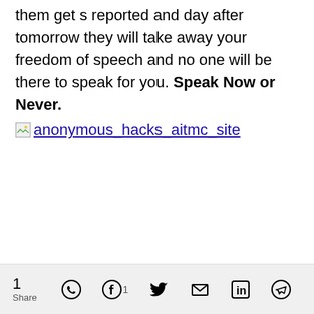them get s reported and day after tomorrow they will take away your freedom of speech and no one will be there to speak for you. Speak Now or Never.
[Figure (other): Broken image with hyperlink text 'anonymous_hacks_aitmc_site']
1 Share [WhatsApp] [Facebook] 1 [Twitter] [Email] [LinkedIn] [Telegram]